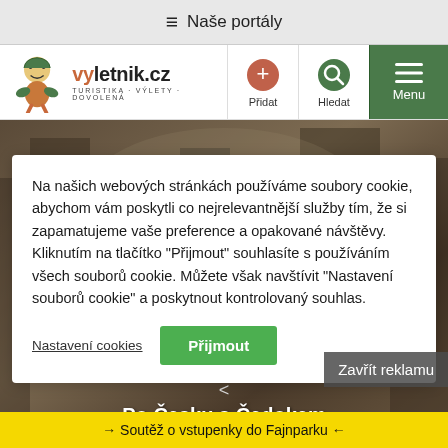≡ Naše portály
[Figure (logo): Vyletnik.cz logo with character illustration and tagline TURISTIKA · VÝLETY · DOVOLENÁ]
[Figure (infographic): Navigation icons: Přidat (add, orange circle), Hledat (search, green circle), Menu (green background)]
[Figure (photo): Background photo of a town or historical site, muted/blurred]
Na našich webových stránkách používáme soubory cookie, abychom vám poskytli co nejrelevantnější služby tím, že si zapamatujeme vaše preference a opakované návštěvy. Kliknutím na tlačítko "Přijmout" souhlasíte s používáním všech souborů cookie. Můžete však navštívit "Nastavení souborů cookie" a poskytnout kontrolovaný souhlas.
Nastavení cookies
Přijmout
Zavřít reklamu
< Po Česku s Čedokem Každý víkend si můžete užít malou dovolenou v pečlivě vybraných hotelech v Česku.
→ Soutěž o vstupenky do Fajnparku ←